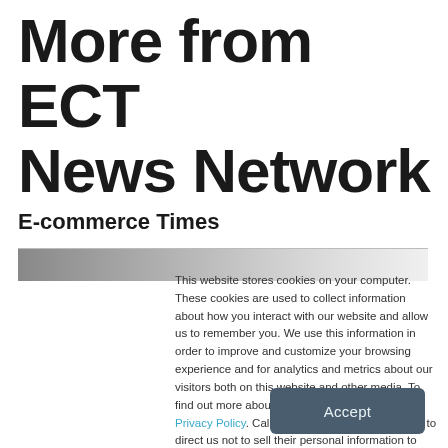More from ECT News Network
E-commerce Times
[Figure (photo): Partial banner image visible behind cookie consent overlay]
This website stores cookies on your computer. These cookies are used to collect information about how you interact with our website and allow us to remember you. We use this information in order to improve and customize your browsing experience and for analytics and metrics about our visitors both on this website and other media. To find out more about the cookies we use, see our Privacy Policy. California residents have the right to direct us not to sell their personal information to third parties by filing an Opt-Out Request: Do Not Sell My Personal Info.
Accept